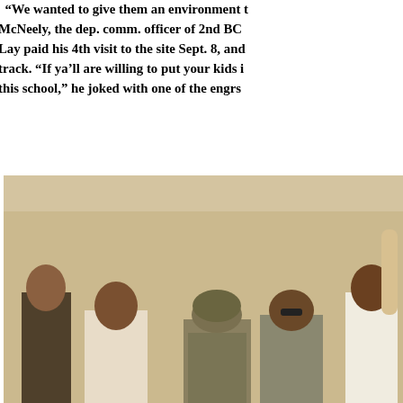"We wanted to give them an environment t... McNeely, the dep. comm. officer of 2nd BC... Lay paid his 4th visit to the site Sept. 8, and... track. "If ya'll are willing to put your kids i... this school," he joked with one of the engrs...
[Figure (photo): Group of people including soldiers in military gear and civilians standing near a wall, apparently inspecting a construction site.]
Sgt. 1st Class Carl Lay speaks with one of t... constructed in Chemin, Sept. 8.
[Figure (photo): A soldier in full combat gear standing in a desert landscape with military structures visible in the background.]